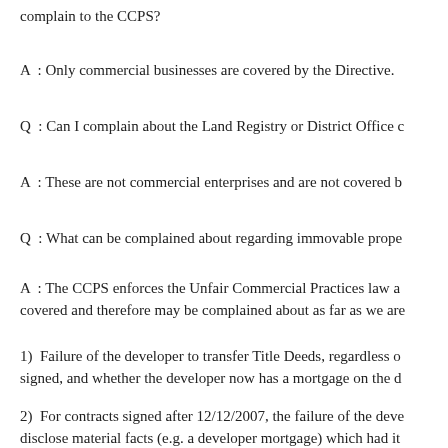complain to the CCPS?
A  : Only commercial businesses are covered by the Directive.
Q  : Can I complain about the Land Registry or District Office c
A  : These are not commercial enterprises and are not covered b
Q  : What can be complained about regarding immovable prope
A  : The CCPS enforces the Unfair Commercial Practices law a covered and therefore may be complained about as far as we are
1)  Failure of the developer to transfer Title Deeds, regardless o signed, and whether the developer now has a mortgage on the d
2)  For contracts signed after 12/12/2007, the failure of the deve disclose material facts (e.g. a developer mortgage) which had it the buyer's decision to purchase the property.